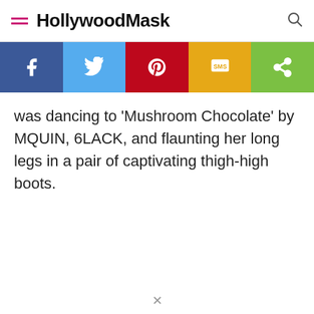HollywoodMask
[Figure (infographic): Social sharing bar with Facebook, Twitter, Pinterest, SMS, and Share buttons]
was dancing to ‘Mushroom Chocolate’ by MQUIN, 6LACK, and flaunting her long legs in a pair of captivating thigh-high boots.